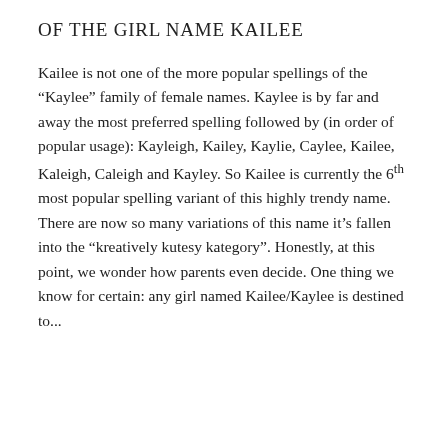Of The Girl Name Kailee
Kailee is not one of the more popular spellings of the “Kaylee” family of female names. Kaylee is by far and away the most preferred spelling followed by (in order of popular usage): Kayleigh, Kailey, Kaylie, Caylee, Kailee, Kaleigh, Caleigh and Kayley. So Kailee is currently the 6th most popular spelling variant of this highly trendy name. There are now so many variations of this name it’s fallen into the “kreatively kutesy kategory”. Honestly, at this point, we wonder how parents even decide. One thing we know for certain: any girl named Kailee/Kaylee is destined to...